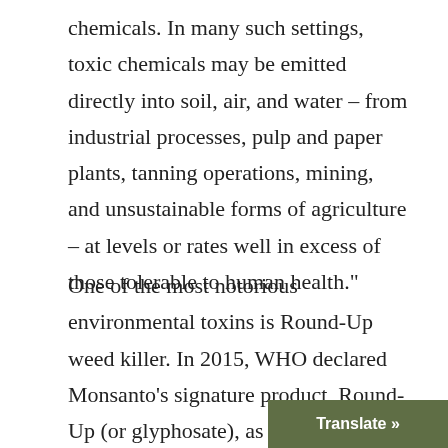chemicals. In many such settings, toxic chemicals may be emitted directly into soil, air, and water – from industrial processes, pulp and paper plants, tanning operations, mining, and unsustainable forms of agriculture – at levels or rates well in excess of those tolerable to human health."
One of the most notorious environmental toxins is Round-Up weed killer. In 2015, WHO declared Monsanto's signature product, Round-Up (or glyphosate), as carcinogenic[4]. However, the tables seemed to turn in 2016 as Round-Up/glyphosate was given a clean bill of health by th... meeting on pesticides residues (JMR...